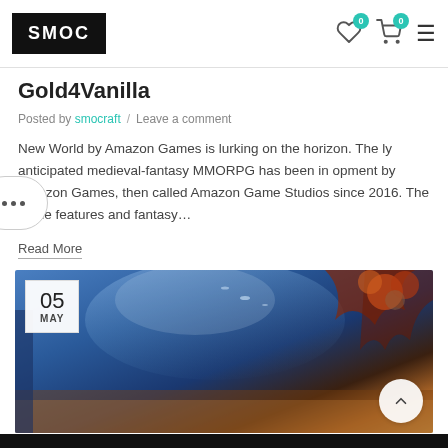SMOC
Gold4Vanilla
Posted by smocraft / Leave a comment
New World by Amazon Games is lurking on the horizon. The ly anticipated medieval-fantasy MMORPG has been in opment by Amazon Games, then called Amazon Game Studios since 2016. The game features and fantasy…
Read More
[Figure (photo): Fantasy landscape image with blue sky, swirling clouds, trees, and warm orange tones. Date badge shows 05 MAY.]